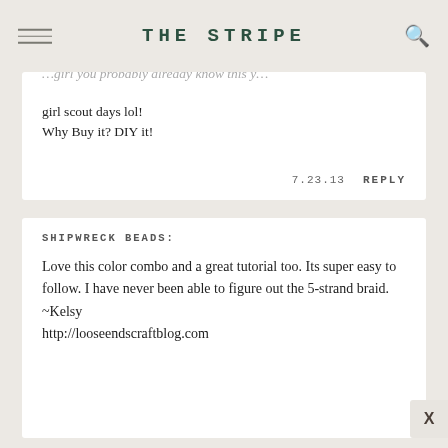THE STRIPE
girl scout days lol!
Why Buy it? DIY it!
7.23.13   REPLY
SHIPWRECK BEADS:
Love this color combo and a great tutorial too. Its super easy to follow. I have never been able to figure out the 5-strand braid.
~Kelsy
http://looseendscraftblog.com